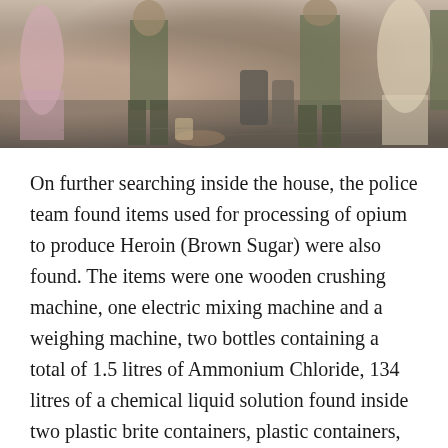[Figure (photo): Police personnel searching a house, with military/police officers in uniform visible, along with seized items on the ground.]
On further searching inside the house, the police team found items used for processing of opium to produce Heroin (Brown Sugar) were also found. The items were one wooden crushing machine, one electric mixing machine and a weighing machine, two bottles containing a total of 1.5 litres of Ammonium Chloride, 134 litres of a chemical liquid solution found inside two plastic brite containers, plastic containers, one aluminium container, gas burner and a cylinder.
The police team in the mission was led by O. Wangkhomba, additional superintendent of police (Ops) Thoubal. He was assisted by inspector N. Sadananda Singh officer-in-charge commando unit,